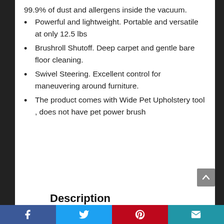99.9% of dust and allergens inside the vacuum.
Powerful and lightweight. Portable and versatile at only 12.5 lbs
Brushroll Shutoff. Deep carpet and gentle bare floor cleaning.
Swivel Steering. Excellent control for maneuvering around furniture.
The product comes with Wide Pet Upholstery tool , does not have pet power brush
Description